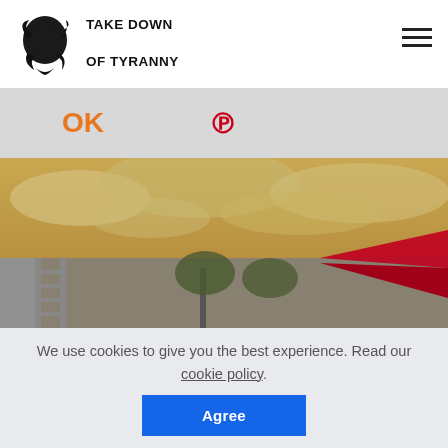[Figure (logo): Black silhouette/ink splash logo of a head for 'Take Down of Tyranny' website]
TAKE DOWN
OF TYRANNY
[Figure (infographic): Orange Odnoklassniki (OK) social icon and red Pinterest (P) icon on grey background social sharing bar]
[Figure (photo): Photo of dramatic golden cloudy sky with trees and a red umbrella visible in lower portion]
We use cookies to give you the best experience. Read our cookie policy.
Agree